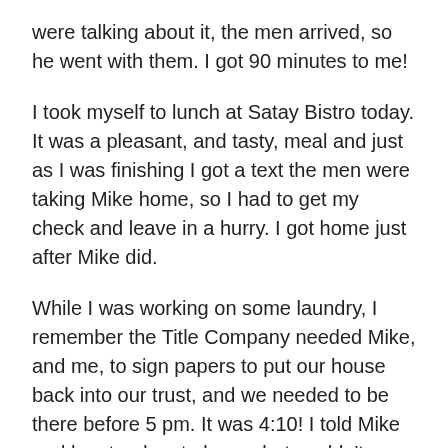were talking about it, the men arrived, so he went with them. I got 90 minutes to me!
I took myself to lunch at Satay Bistro today. It was a pleasant, and tasty, meal and just as I was finishing I got a text the men were taking Mike home, so I had to get my check and leave in a hurry. I got home just after Mike did.
While I was working on some laundry, I remember the Title Company needed Mike, and me, to sign papers to put our house back into our trust, and we needed to be there before 5 pm. It was 4:10! I told Mike and he stood up to leave, but couldn't remember where he'd put his wallet. He thought it was on the floor of my car. I told him he had it when he was with the men earlier – but he kept insisting it was on the floor of my car. He looked